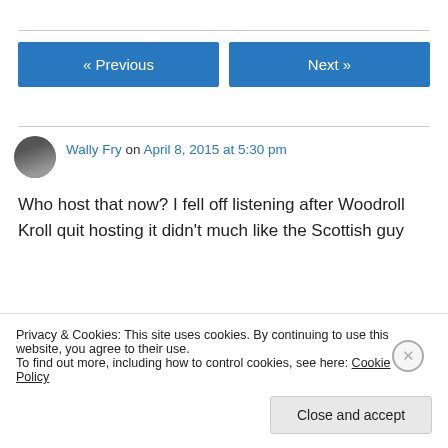« Previous    Next »
Wally Fry on April 8, 2015 at 5:30 pm
Who host that now? I fell off listening after Woodroll Kroll quit hosting it didn't much like the Scottish guy
Privacy & Cookies: This site uses cookies. By continuing to use this website, you agree to their use.
To find out more, including how to control cookies, see here: Cookie Policy
Close and accept